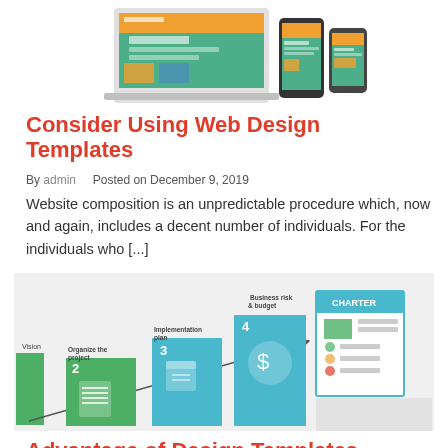[Figure (screenshot): Screenshot of a website displayed on laptop, tablet, and smartphone devices showing a web design template with orange/teal color scheme]
Consider Using Web Design Templates
By admin   Posted on December 9, 2019
Website composition is an unpredictable procedure which, now and again, includes a decent number of individuals. For the individuals who [...]
[Figure (infographic): Step-by-step project management infographic showing steps: 1 Vision, 2 Organize the project, 3 Implementation plan, 4 Business risk & budget, and a Charter document, with staircase/arrow progression design in green and teal colors]
Advantage of Design Templates